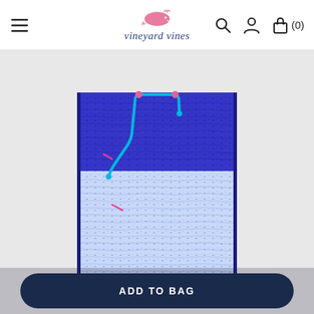[Figure (logo): Vineyard Vines logo with pink whale icon above the brand name text]
[Figure (photo): Blue and light blue patterned swim trunks with repeating shark/fish motif, cyan drawstring, pink accent stitching, on a light gray background]
ADD TO BAG